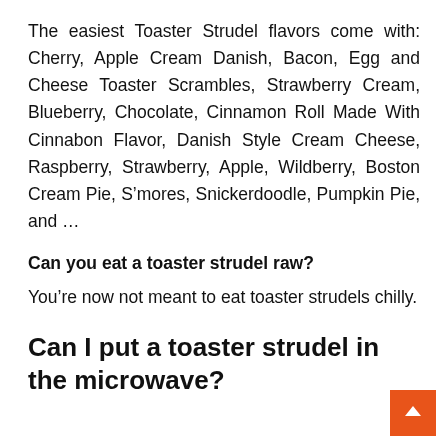The easiest Toaster Strudel flavors come with: Cherry, Apple Cream Danish, Bacon, Egg and Cheese Toaster Scrambles, Strawberry Cream, Blueberry, Chocolate, Cinnamon Roll Made With Cinnabon Flavor, Danish Style Cream Cheese, Raspberry, Strawberry, Apple, Wildberry, Boston Cream Pie, S’mores, Snickerdoodle, Pumpkin Pie, and …
Can you eat a toaster strudel raw?
You’re now not meant to eat toaster strudels chilly.
Can I put a toaster strudel in the microwave?